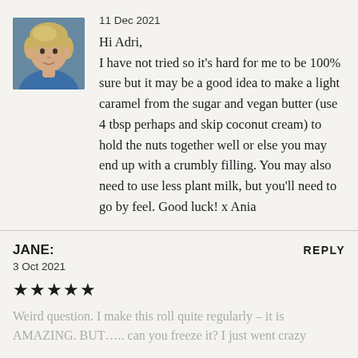[Figure (photo): Profile photo of a woman with short blonde hair wearing a blue top]
11 Dec 2021
Hi Adri,
I have not tried so it's hard for me to be 100% sure but it may be a good idea to make a light caramel from the sugar and vegan butter (use 4 tbsp perhaps and skip coconut cream) to hold the nuts together well or else you may end up with a crumbly filling. You may also need to use less plant milk, but you'll need to go by feel. Good luck! x Ania
JANE:
REPLY
3 Oct 2021
★★★★★
Weird question. I make this roll quite regularly – it is AMAZING. BUT….. can you freeze it? I just went crazy